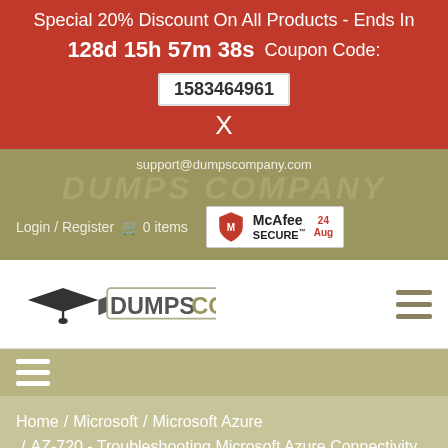Special 20% Discount On All Products - Ends In 128d 15h 57m 38s  Coupon Code: 1583464961
support@dumpscompany.com
Login / Register  🛒 0 items
[Figure (logo): McAfee SECURE badge with shield logo and date 24 Aug]
[Figure (logo): DumpsCompany logo with graduation cap]
≡ (hamburger menu icon)
≡ (mobile hamburger menu icon)
Home / Microsoft / Microsoft Azure / AZ-720 - Troubleshooting Microsoft Azure Connectivity